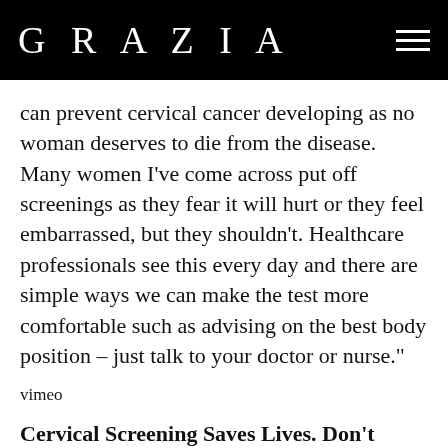GRAZIA
can prevent cervical cancer developing as no woman deserves to die from the disease. Many women I've come across put off screenings as they fear it will hurt or they feel embarrassed, but they shouldn't. Healthcare professionals see this every day and there are simple ways we can make the test more comfortable such as advising on the best body position – just talk to your doctor or nurse."
vimeo
Cervical Screening Saves Lives. Don't ignore your cervical screening invite and encourage the people that you love to get screened if they